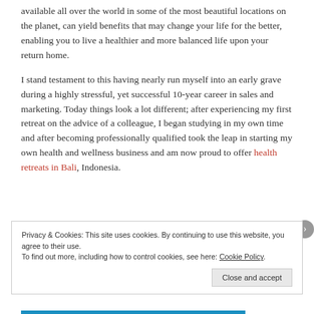available all over the world in some of the most beautiful locations on the planet, can yield benefits that may change your life for the better, enabling you to live a healthier and more balanced life upon your return home.
I stand testament to this having nearly run myself into an early grave during a highly stressful, yet successful 10-year career in sales and marketing. Today things look a lot different; after experiencing my first retreat on the advice of a colleague, I began studying in my own time and after becoming professionally qualified took the leap in starting my own health and wellness business and am now proud to offer health retreats in Bali, Indonesia.
Privacy & Cookies: This site uses cookies. By continuing to use this website, you agree to their use. To find out more, including how to control cookies, see here: Cookie Policy